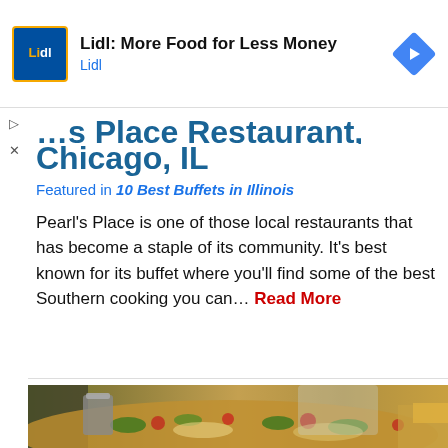[Figure (screenshot): Lidl advertisement banner with Lidl blue and yellow logo on left, heading 'Lidl: More Food for Less Money', subtitle 'Lidl', and a blue navigation arrow diamond icon on the right]
Pearl's Place Restaurant, Chicago, IL
Featured in 10 Best Buffets in Illinois
Pearl's Place is one of those local restaurants that has become a staple of its community. It's best known for its buffet where you'll find some of the best Southern cooking you can... Read More
[Figure (photo): Close-up photograph of pizza and food items in a buffet setting, with blurred background]